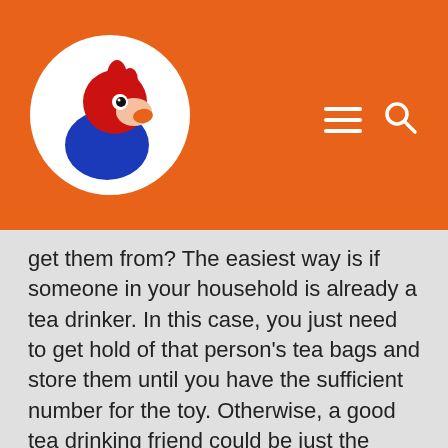[Figure (logo): Website header with orange background, circular logo showing a red rooster/parrot bird with blue body on white circle background, hamburger menu icon and search icon in white on the right]
get them from? The easiest way is if someone in your household is already a tea drinker. In this case, you just need to get hold of that person’s tea bags and store them until you have the sufficient number for the toy. Otherwise, a good tea drinking friend could be just the solution.
If none of the above is possible, you can try to improvise your own paper labels and then attach them to strings. A common source for a paper label could be the kitchen paper roll (or toilet paper roll) or other cardboard in the house (eg. cornflakes package). Then